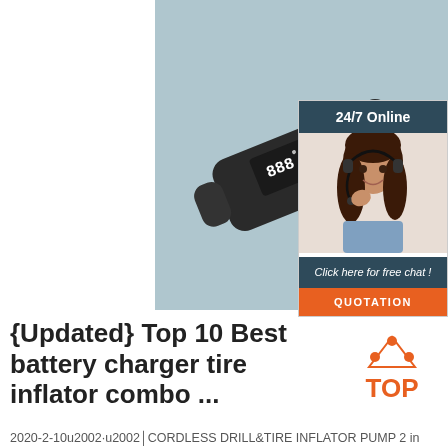[Figure (photo): Product photo of a black cordless tire inflator pump with digital display on a light blue-grey background]
[Figure (infographic): 24/7 Online chat advertisement sidebar with woman wearing headset, 'Click here for free chat!' text and orange QUOTATION button]
{Updated} Top 10 Best battery charger tire inflator combo ...
[Figure (logo): TOP logo with orange triangle dots above orange TOP text]
2020-2-10u2002·u2002│CORDLESS DRILL&TIRE INFLATOR PUMP 2 in 1│1+1